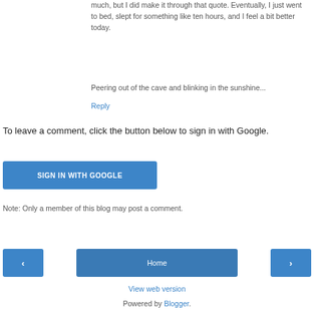much, but I did make it through that quote. Eventually, I just went to bed, slept for something like ten hours, and I feel a bit better today.
Peering out of the cave and blinking in the sunshine...
Reply
To leave a comment, click the button below to sign in with Google.
SIGN IN WITH GOOGLE
Note: Only a member of this blog may post a comment.
Home
View web version
Powered by Blogger.